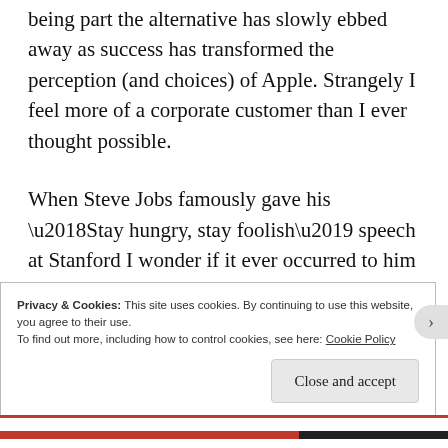being part the alternative has slowly ebbed away as success has transformed the perception (and choices) of Apple. Strangely I feel more of a corporate customer than I ever thought possible.
When Steve Jobs famously gave his ‘Stay hungry, stay foolish’ speech at Stanford I wonder if it ever occurred to him that his own company would have need of this wisdom in the coming years?
Privacy & Cookies: This site uses cookies. By continuing to use this website, you agree to their use.
To find out more, including how to control cookies, see here: Cookie Policy

Close and accept